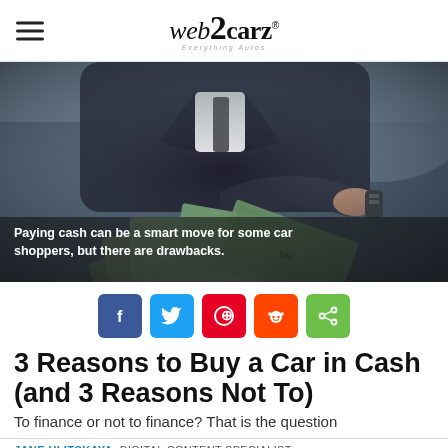web2carz — Everything Autos
[Figure (photo): Person in suit holding car keys reaching toward camera, with a fan of US dollar bills in the foreground, inside a car dealership setting.]
Paying cash can be a smart move for some car shoppers, but there are drawbacks.
Social share buttons: Facebook, Twitter, Pinterest, Reddit, Share
3 Reasons to Buy a Car in Cash (and 3 Reasons Not To)
To finance or not to finance? That is the question
JANE ULITSKAYA, DIGITAL CONTENT SPECIALIST
Published: February 11th, 2021